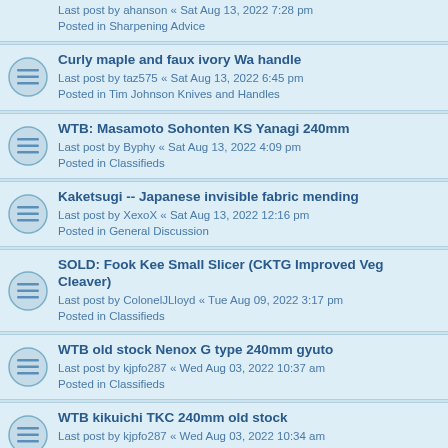Last post by ahanson « Sat Aug 13, 2022 7:28 pm
Posted in Sharpening Advice
Curly maple and faux ivory Wa handle
Last post by taz575 « Sat Aug 13, 2022 6:45 pm
Posted in Tim Johnson Knives and Handles
WTB: Masamoto Sohonten KS Yanagi 240mm
Last post by Byphy « Sat Aug 13, 2022 4:09 pm
Posted in Classifieds
Kaketsugi -- Japanese invisible fabric mending
Last post by XexoX « Sat Aug 13, 2022 12:16 pm
Posted in General Discussion
SOLD: Fook Kee Small Slicer (CKTG Improved Veg Cleaver)
Last post by ColonelJLloyd « Tue Aug 09, 2022 3:17 pm
Posted in Classifieds
WTB old stock Nenox G type 240mm gyuto
Last post by kjpfo287 « Wed Aug 03, 2022 10:37 am
Posted in Classifieds
WTB kikuichi TKC 240mm old stock
Last post by kjpfo287 « Wed Aug 03, 2022 10:34 am
Posted in Classifieds
Happy Meat Day!
Last post by XexoX « Fri Jul 29, 2022 2:25 pm
Posted in General Discussion
Knife maker identification
Last post by hypnotic474 « Tue Jul 05, 2022 7:20 pm
Posted in General Discussion